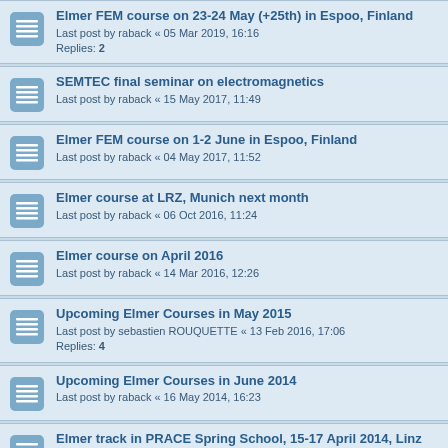Elmer FEM course on 23-24 May (+25th) in Espoo, Finland
Last post by Phlix « 05 Mar 2019, 16:16
Replies: 2
SEMTEC final seminar on electromagnetics
Last post by raback « 15 May 2017, 11:49
Elmer FEM course on 1-2 June in Espoo, Finland
Last post by raback « 04 May 2017, 11:52
Elmer course at LRZ, Munich next month
Last post by raback « 06 Oct 2016, 11:24
Elmer course on April 2016
Last post by raback « 14 Mar 2016, 12:26
Upcoming Elmer Courses in May 2015
Last post by sebastien ROUQUETTE « 13 Feb 2016, 17:06
Replies: 4
Upcoming Elmer Courses in June 2014
Last post by raback « 16 May 2014, 16:23
Elmer track in PRACE Spring School, 15-17 April 2014, Linz
Last post by mzenker « 27 Jan 2014, 18:58
Replies: 7
Elmer (+Fenics) course in Stockholm in Dec 4-6!
Last post by raback « 15 Nov 2013, 15:14
Elmer FEM Basic Course + Programming Workshop
Last post by raback « 12 Apr 2013, 13:54
Replies: 1
Elmer courses on spring & possible user meeting